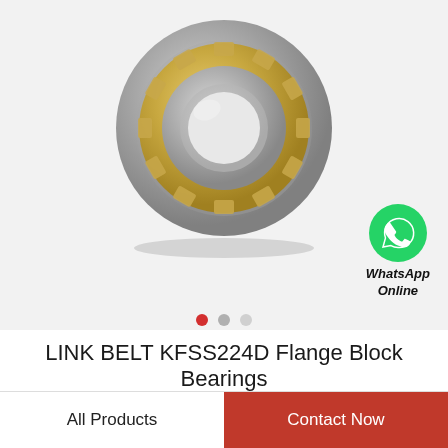[Figure (photo): Cylindrical roller bearing (LINK BELT KFSS224D Flange Block Bearing) shown from the front against a light gray background. The bearing has a silver/chrome outer ring and gold/brass colored cage with cylindrical rollers visible.]
[Figure (logo): WhatsApp green circle logo icon with white handset symbol, followed by text 'WhatsApp Online' in bold italic black.]
LINK BELT KFSS224D Flange Block Bearings
All Products
Contact Now